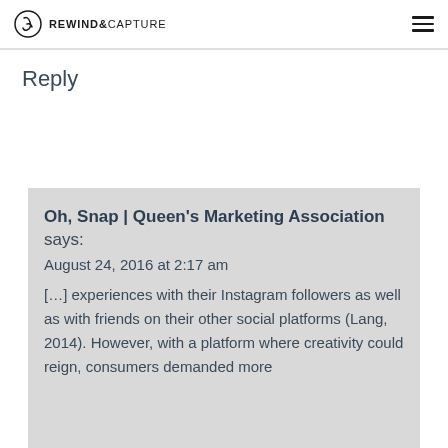REWIND&CAPTURE
Reply
Oh, Snap | Queen's Marketing Association says:
August 24, 2016 at 2:17 am
[...] experiences with their Instagram followers as well as with friends on their other social platforms (Lang, 2014). However, with a platform where creativity could reign, consumers demanded more